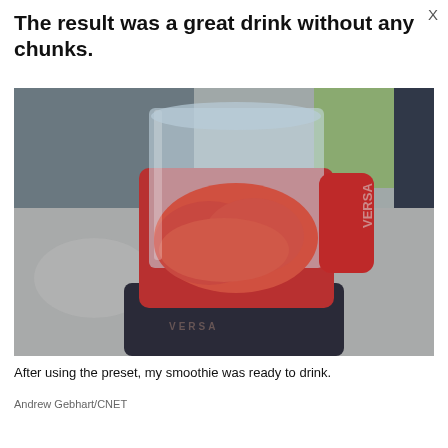The result was a great drink without any chunks.
[Figure (photo): A red Versa blender filled with a smooth pink/red smoothie blend, sitting on a dark countertop with a blurred background.]
After using the preset, my smoothie was ready to drink.
Andrew Gebhart/CNET